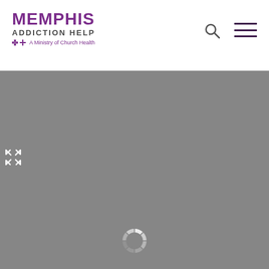[Figure (logo): Memphis Addiction Help logo - A Ministry of Church Health]
[Figure (other): Map area with loading spinner and expand icon, gray background]